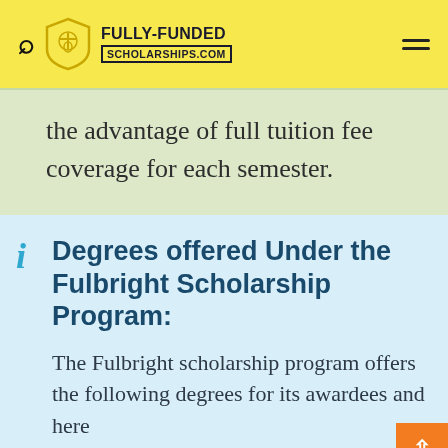FULLY-FUNDED SCHOLARSHIPS.COM
the advantage of full tuition fee coverage for each semester.
Degrees offered Under the Fulbright Scholarship Program:
The Fulbright scholarship program offers the following degrees for its awardees and here